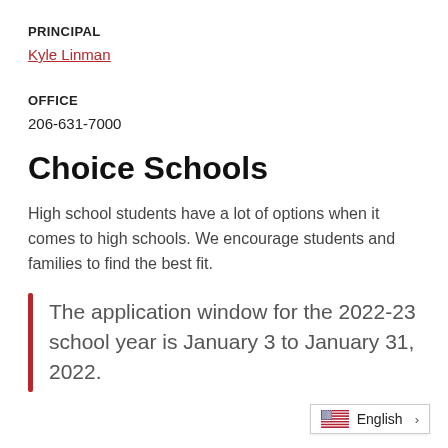PRINCIPAL
Kyle Linman
OFFICE
206-631-7000
Choice Schools
High school students have a lot of options when it comes to high schools. We encourage students and families to find the best fit.
The application window for the 2022-23 school year is January 3 to January 31, 2022.
English